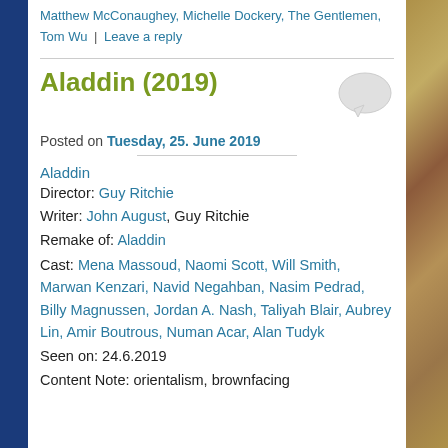Matthew McConaughey, Michelle Dockery, The Gentlemen, Tom Wu | Leave a reply
Aladdin (2019)
Posted on Tuesday, 25. June 2019
Aladdin
Director: Guy Ritchie
Writer: John August, Guy Ritchie
Remake of: Aladdin
Cast: Mena Massoud, Naomi Scott, Will Smith, Marwan Kenzari, Navid Negahban, Nasim Pedrad, Billy Magnussen, Jordan A. Nash, Taliyah Blair, Aubrey Lin, Amir Boutrous, Numan Acar, Alan Tudyk
Seen on: 24.6.2019
Content Note: orientalism, brownfacing